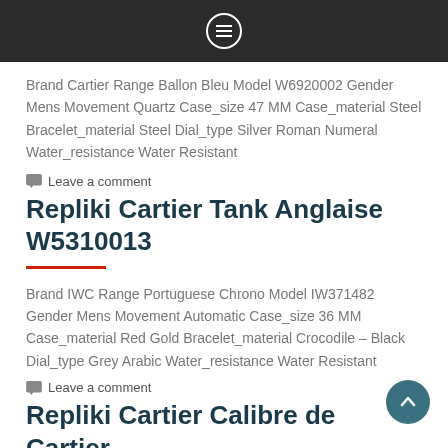Brand Cartier Range Ballon Bleu Model W6920002 Gender Mens Movement Quartz Case_size 47 MM Case_material Steel Bracelet_material Steel Dial_type Silver Roman Numeral Water_resistance Water Resistant
Leave a comment
Repliki Cartier Tank Anglaise W5310013
Brand IWC Range Portuguese Chrono Model IW371482 Gender Mens Movement Automatic Case_size 36 MM Case_material Red Gold Bracelet_material Crocodile – Black Dial_type Grey Arabic Water_resistance Water Resistant
Leave a comment
Repliki Cartier Calibre de Cartier